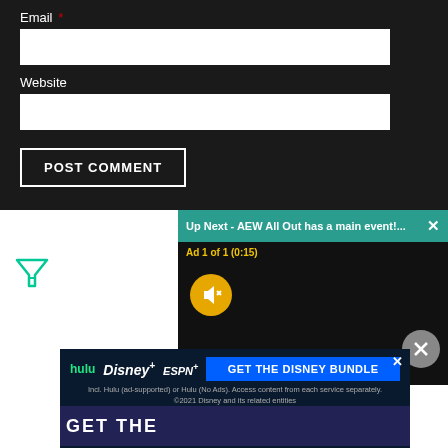Email *
[Figure (screenshot): Email input field (white rectangle)]
Website
[Figure (screenshot): Website input field (white rectangle)]
POST COMMENT
[Figure (screenshot): Video popup: 'Up Next - AEW All Out has a main event!...' with Ad 1 of 1 (0:15) and mute button]
[Figure (screenshot): Green filter/sort icon (triangle with lines)]
[Figure (screenshot): Disney bundle banner advertisement with Hulu, Disney+, ESPN+ logos and GET THE DISNEY BUNDLE button]